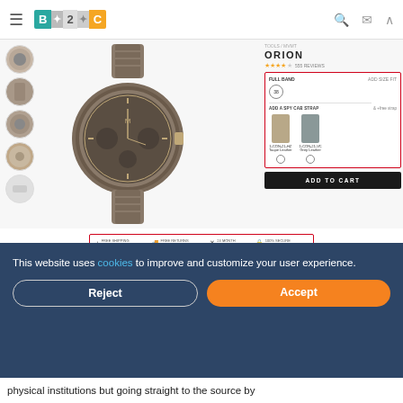[Figure (screenshot): B2C website nav bar with hamburger menu, B2C puzzle logo, search, mail and up arrow icons]
[Figure (photo): MVMT Orion chronograph watch with grey/brown tone and rose gold accents on metal bracelet, main product image with four thumbnail images on left]
TOOLS / MVMT
ORION
★★★★☆ 555 REVIEWS
[Figure (screenshot): Red-bordered product customization box showing size selector (38), ADD A SPY CAB STRAP section with Taupe Leather and Grey Leather strap options]
ADD TO CART
[Figure (screenshot): Red-bordered features row: FREE SHIPPING WORLDWIDE, FREE RETURNS WORLDWIDE, 24-MONTH WARRANTY, 100% SECURE CHECKOUT]
This website uses cookies to improve and customize your user experience.
Reject
Accept
physical institutions but going straight to the source by